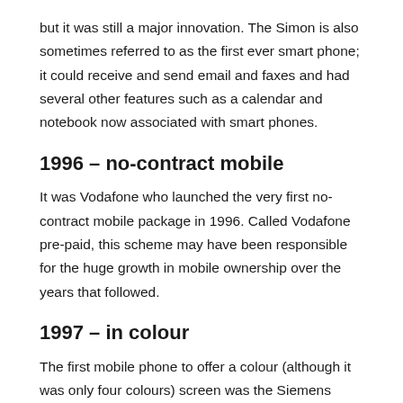but it was still a major innovation. The Simon is also sometimes referred to as the first ever smart phone; it could receive and send email and faxes and had several other features such as a calendar and notebook now associated with smart phones.
1996 – no-contract mobile
It was Vodafone who launched the very first no-contract mobile package in 1996. Called Vodafone pre-paid, this scheme may have been responsible for the huge growth in mobile ownership over the years that followed.
1997 – in colour
The first mobile phone to offer a colour (although it was only four colours) screen was the Siemens S10. Only the text was in colour however.